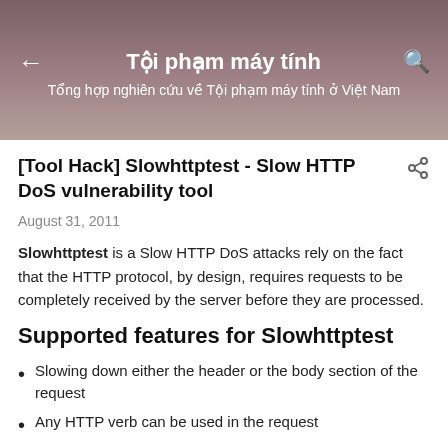Tội phạm máy tính
Tổng hợp nghiên cứu về Tội phạm máy tính ở Việt Nam
[Tool Hack] Slowhttptest - Slow HTTP DoS vulnerability tool
August 31, 2011
Slowhttptest is a Slow HTTP DoS attacks rely on the fact that the HTTP protocol, by design, requires requests to be completely received by the server before they are processed.
Supported features for Slowhttptest
Slowing down either the header or the body section of the request
Any HTTP verb can be used in the request
Configurable Content-Length header